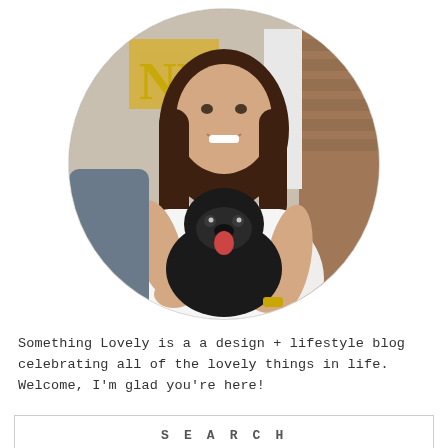[Figure (photo): Oval-cropped photo of a smiling young woman with brown shoulder-length hair, wearing a white t-shirt, holding a small black pug dog. Background shows a storefront with partial gold letters 'ND' visible. Woman wears a gold watch.]
Something Lovely is a a design + lifestyle blog celebrating all of the lovely things in life. Welcome, I'm glad you're here!
S E A R C H